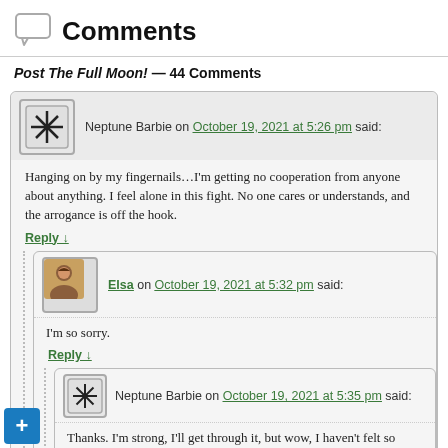Comments
Post The Full Moon! — 44 Comments
Neptune Barbie on October 19, 2021 at 5:26 pm said:
Hanging on by my fingernails…I'm getting no cooperation from anyone about anything. I feel alone in this fight. No one cares or understands, and the arrogance is off the hook.
Reply ↓
Elsa on October 19, 2021 at 5:32 pm said:
I'm so sorry.
Reply ↓
Neptune Barbie on October 19, 2021 at 5:35 pm said:
Thanks. I'm strong, I'll get through it, but wow, I haven't felt so defeated in a long, long time. You hang in there too!
Reply ↓